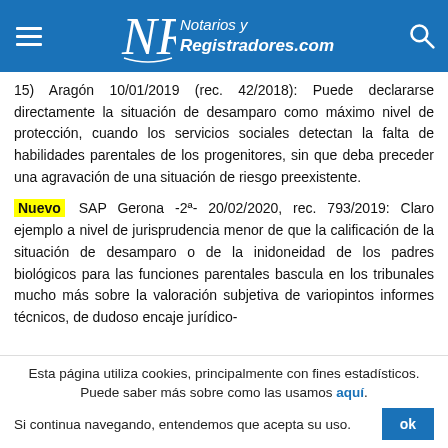Notarios y Registradores.com
15) Aragón 10/01/2019 (rec. 42/2018): Puede declararse directamente la situación de desamparo como máximo nivel de protección, cuando los servicios sociales detectan la falta de habilidades parentales de los progenitores, sin que deba preceder una agravación de una situación de riesgo preexistente.
Nuevo SAP Gerona -2ª- 20/02/2020, rec. 793/2019: Claro ejemplo a nivel de jurisprudencia menor de que la calificación de la situación de desamparo o de la inidoneidad de los padres biológicos para las funciones parentales bascula en los tribunales mucho más sobre la valoración subjetiva de variopintos informes técnicos, de dudoso encaje jurídico-
Esta página utiliza cookies, principalmente con fines estadísticos. Puede saber más sobre como las usamos aquí. Si continua navegando, entendemos que acepta su uso.